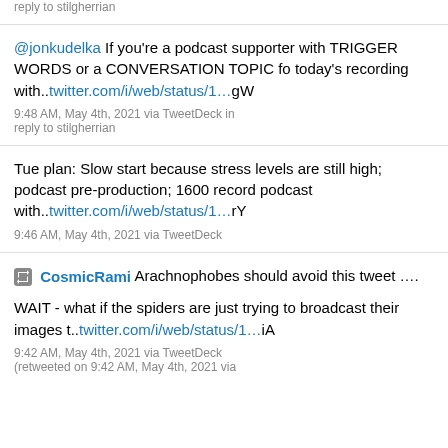reply to stilgherrian
@jonkudelka If you're a podcast supporter with TRIGGER WORDS or a CONVERSATION TOPIC fo today's recording with..twitter.com/i/web/status/1…gW
9:48 AM, May 4th, 2021 via TweetDeck in reply to stilgherrian
Tue plan: Slow start because stress levels are still high; podcast pre-production; 1600 record podcast with..twitter.com/i/web/status/1…rY
9:46 AM, May 4th, 2021 via TweetDeck
CosmicRami Arachnophobes should avoid this tweet ….

WAIT - what if the spiders are just trying to broadcast their images t..twitter.com/i/web/status/1…iA
9:42 AM, May 4th, 2021 via TweetDeck (retweeted on 9:42 AM, May 4th, 2021 via